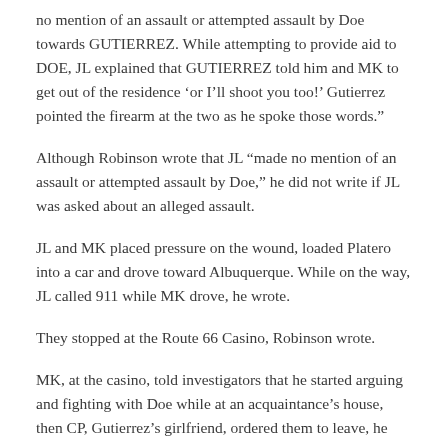no mention of an assault or attempted assault by Doe towards GUTIERREZ. While attempting to provide aid to DOE, JL explained that GUTIERREZ told him and MK to get out of the residence ‘or I’ll shoot you too!’ Gutierrez pointed the firearm at the two as he spoke those words.”
Although Robinson wrote that JL “made no mention of an assault or attempted assault by Doe,” he did not write if JL was asked about an alleged assault.
JL and MK placed pressure on the wound, loaded Platero into a car and drove toward Albuquerque. While on the way, JL called 911 while MK drove, he wrote.
They stopped at the Route 66 Casino, Robinson wrote.
MK, at the casino, told investigators that he started arguing and fighting with Doe while at an acquaintance’s house, then CP, Gutierrez’s girlfriend, ordered them to leave, he wrote.